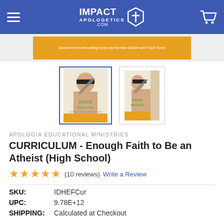IMPACT APOLOGETICS .com
[Figure (photo): Banner image with orange background and italic text: Based on the best-selling books by Norman Geisler and Frank Turek]
[Figure (photo): Two thumbnail images of the book 'Faith Resolved' with a person wearing a blindfold and holding scissors. First thumbnail is selected with blue border, second is smaller.]
APOLOGIA EDUCATIONAL MINISTRIES
CURRICULUM - Enough Faith to Be an Atheist (High School)
★★★★★ (10 reviews)  Write a Review
SKU:   IDHEFCur
UPC:   9.78E+12
SHIPPING:   Calculated at Checkout